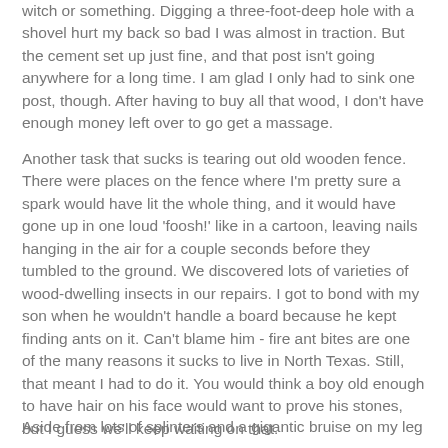witch or something. Digging a three-foot-deep hole with a shovel hurt my back so bad I was almost in traction. But the cement set up just fine, and that post isn't going anywhere for a long time. I am glad I only had to sink one post, though. After having to buy all that wood, I don't have enough money left over to go get a massage.
Another task that sucks is tearing out old wooden fence. There were places on the fence where I'm pretty sure a spark would have lit the whole thing, and it would have gone up in one loud 'foosh!' like in a cartoon, leaving nails hanging in the air for a couple seconds before they tumbled to the ground. We discovered lots of varieties of wood-dwelling insects in our repairs. I got to bond with my son when he wouldn't handle a board because he kept finding ants on it. Can't blame him - fire ant bites are one of the many reasons it sucks to live in North Texas. Still, that meant I had to do it. You would think a boy old enough to have hair on his face would want to prove his stones, but I guess we'll keep waiting on that.
Aside from lots of splinters and a gigantic bruise on my leg